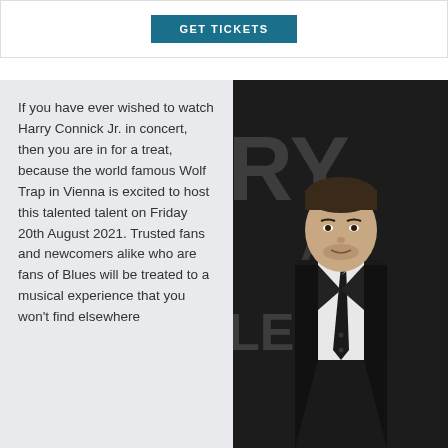[Figure (other): GET TICKETS button on white/bordered background section at top]
If you have ever wished to watch Harry Connick Jr. in concert, then you are in for a treat, because the world famous Wolf Trap in Vienna is excited to host this talented talent on Friday 20th August 2021. Trusted fans and newcomers alike who are fans of Blues will be treated to a musical experience that you won't find elsewhere
[Figure (photo): Photo of Harry Connick Jr. in a black suit and tie against a dark background with partial white text visible]